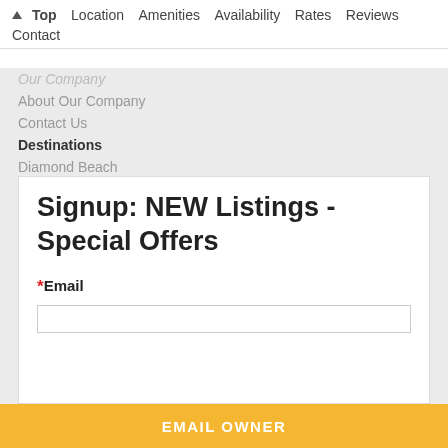↑ Top   Location   Amenities   Availability   Rates   Reviews   Contact
Our Company (partial, cut off)
About Our Company
Contact Us
Destinations
Diamond Beach
North Wildwood
Wildwood
Wildwood Crest
Signup: NEW Listings - Special Offers
* Email
EMAIL OWNER